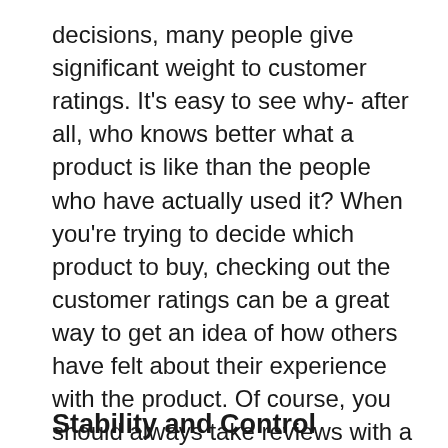decisions, many people give significant weight to customer ratings. It's easy to see why- after all, who knows better what a product is like than the people who have actually used it? When you're trying to decide which product to buy, checking out the customer ratings can be a great way to get an idea of how others have felt about their experience with the product. Of course, you should always take reviews with a grain of salt- not everyone is going to love every product, and some people might be more likely to leave a review than others. But overall, customer ratings are usually a pretty good indicator of how satisfied people are with a particular product.
Stability and Control